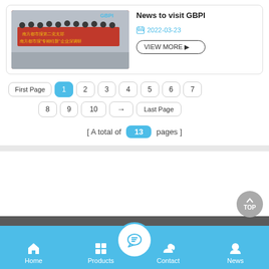[Figure (photo): Group photo of people holding a red banner with Chinese text about Nanfang Dushi Bao party visit to GBPI]
News to visit GBPI
2022-03-23
VIEW MORE ▶
First Page
1
2
3
4
5
6
7
8
9
10
→
Last Page
[ A total of 13 pages ]
Home  Products  Contact  News